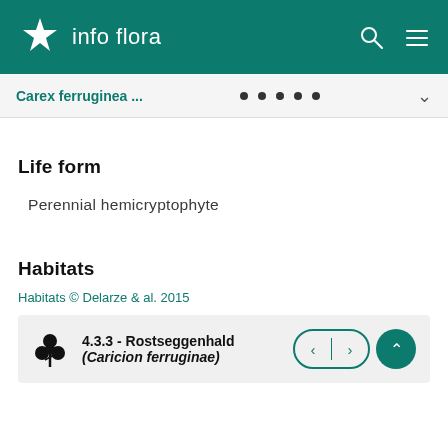info flora
Carex ferruginea ...
Life form
Perennial hemicryptophyte
Habitats
Habitats © Delarze & al. 2015
4.3.3 - Rostseggenhalde (Caricion ferruginae)